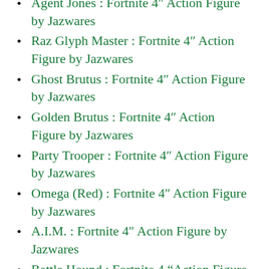Agent Jones : Fortnite 4″ Action Figure by Jazwares
Raz Glyph Master : Fortnite 4″ Action Figure by Jazwares
Ghost Brutus : Fortnite 4″ Action Figure by Jazwares
Golden Brutus : Fortnite 4″ Action Figure by Jazwares
Party Trooper : Fortnite 4″ Action Figure by Jazwares
Omega (Red) : Fortnite 4″ Action Figure by Jazwares
A.I.M. : Fortnite 4″ Action Figure by Jazwares
Battle Hound : Fortnite 4 "Action Figure by Jazwares
Bash : Fortnite Action Figure by Jazwares